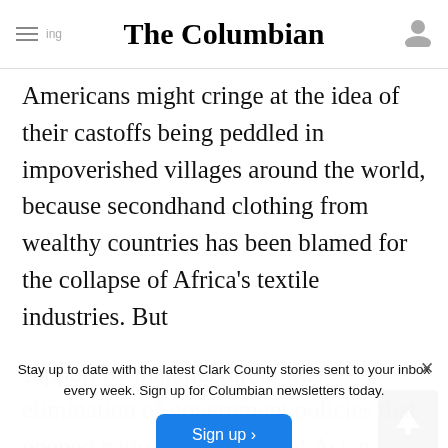The Columbian
Americans might cringe at the idea of their castoffs being peddled in impoverished villages around the world, because secondhand clothing from wealthy countries has been blamed for the collapse of Africa’s textile industries. But
Stay up to date with the latest Clark County stories sent to your inbox every week. Sign up for Columbian newsletters today.